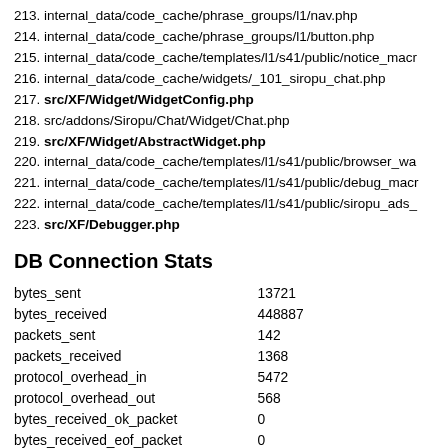213. internal_data/code_cache/phrase_groups/l1/nav.php
214. internal_data/code_cache/phrase_groups/l1/button.php
215. internal_data/code_cache/templates/l1/s41/public/notice_macr…
216. internal_data/code_cache/widgets/_101_siropu_chat.php
217. src/XF/Widget/WidgetConfig.php
218. src/addons/Siropu/Chat/Widget/Chat.php
219. src/XF/Widget/AbstractWidget.php
220. internal_data/code_cache/templates/l1/s41/public/browser_wa…
221. internal_data/code_cache/templates/l1/s41/public/debug_macr…
222. internal_data/code_cache/templates/l1/s41/public/siropu_ads_…
223. src/XF/Debugger.php
DB Connection Stats
|  |  |
| --- | --- |
| bytes_sent | 13721 |
| bytes_received | 448887 |
| packets_sent | 142 |
| packets_received | 1368 |
| protocol_overhead_in | 5472 |
| protocol_overhead_out | 568 |
| bytes_received_ok_packet | 0 |
| bytes_received_eof_packet | 0 |